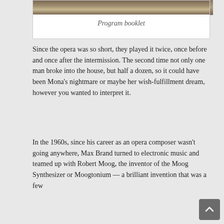[Figure (photo): Top portion of a program booklet photo, partially visible]
Program booklet
Since the opera was so short, they played it twice, once before and once after the intermission. The second time not only one man broke into the house, but half a dozen, so it could have been Mona’s nightmare or maybe her wish-fulfillment dream, however you wanted to interpret it.
In the 1960s, since his career as an opera composer wasn’t going anywhere, Max Brand turned to electronic music and teamed up with Robert Moog, the inventor of the Moog Synthesizer or Moogtonium — a brilliant invention that was a few